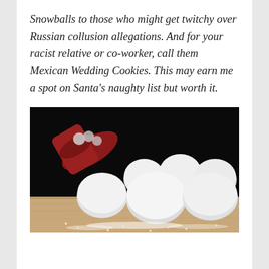Snowballs to those who might get twitchy over Russian collusion allegations. And for your racist relative or co-worker, call them Mexican Wedding Cookies. This may earn me a spot on Santa's naughty list but worth it.
[Figure (photo): Photo of powdered sugar snowball cookies (Mexican wedding cookies) piled on a wooden surface with powdered sugar dusted around them, and a red mug tipped over in the background on a black background.]